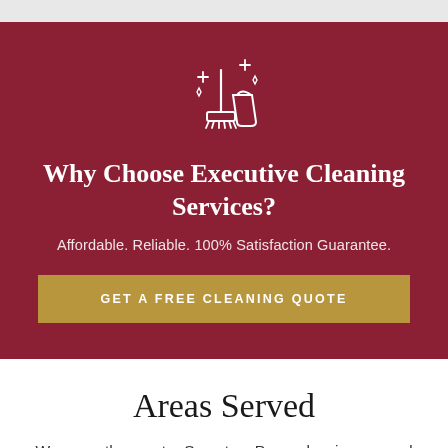[Figure (illustration): White line icon of a broom, mop/bucket with sparkle stars on dark red background]
Why Choose Executive Cleaning Services?
Affordable. Reliable. 100% Satisfaction Guarantee.
GET A FREE CLEANING QUOTE
Areas Served
We serve the greater Scranton, Pennsylvania area and its surroundings in the State of